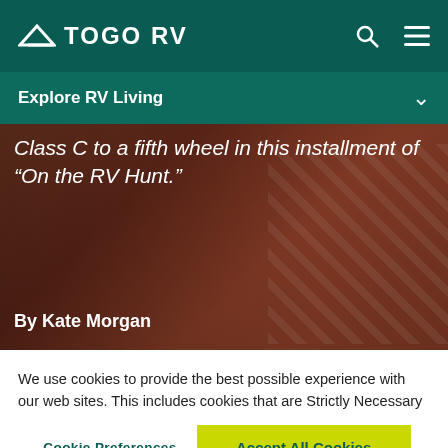TOGO RV
Explore RV Living
[Figure (photo): Hero image showing people with RV lifestyle, red clothing visible, with overlaid italic text about switching from Class C to a fifth wheel in 'On the RV Hunt.']
Class C to a fifth wheel in this installment of “On the RV Hunt.”
By Kate Morgan
We use cookies to provide the best possible experience with our web sites. This includes cookies that are Strictly Necessary for the site to work, help us understand site usage, and help manage your preferences. For more details on how we use your information please read our Cookie Policy.
Cookie Preferences
Accept All Cookies